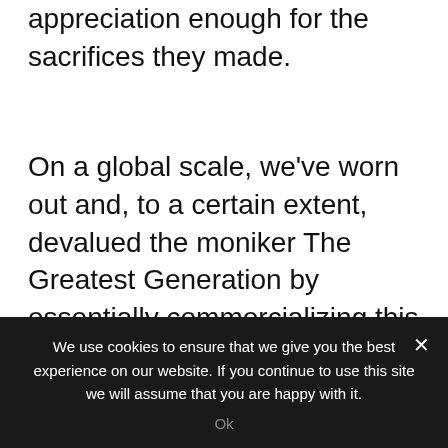satisfaction of a job well done would be appreciation enough for the sacrifices they made.
On a global scale, we've worn out and, to a certain extent, devalued the moniker The Greatest Generation by essentially commercializing this dwindling group of heroes. But their life-changing bravery and sense of responsibility a generation ago remains a gift the rest of us continue to enjoy every day.
It just so happens we're entering our
We use cookies to ensure that we give you the best experience on our website. If you continue to use this site we will assume that you are happy with it. Ok